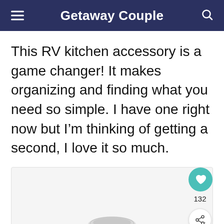Getaway Couple
This RV kitchen accessory is a game changer! It makes organizing and finding what you need so simple. I have one right now but I'm thinking of getting a second, I love it so much.
[Figure (photo): Partial view of a product image with a heart/save button showing 132 saves and a share button overlay on the right side.]